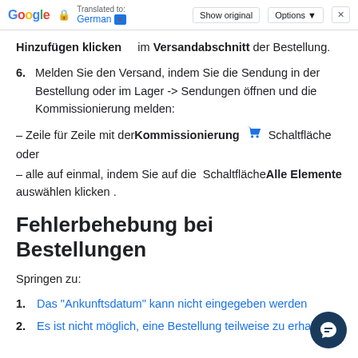Google Translated to: German | Show original | Options | X
Hinzufügen klicken im Versandabschnitt der Bestellung.
6. Melden Sie den Versand, indem Sie die Sendung in der Bestellung oder im Lager -> Sendungen öffnen und die Kommissionierung melden:
– Zeile für Zeile mit der Kommissionierung [icon] Schaltfläche oder
– alle auf einmal, indem Sie auf die Schaltfläche Alle Elemente auswählen klicken .
Fehlerbehebung bei Bestellungen
Springen zu:
1. Das "Ankunftsdatum" kann nicht eingegeben werden
2. Es ist nicht möglich, eine Bestellung teilweise zu erhalten